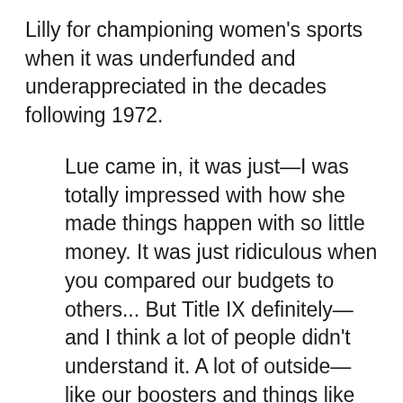Lilly for championing women's sports when it was underfunded and underappreciated in the decades following 1972.
Lue came in, it was just—I was totally impressed with how she made things happen with so little money. It was just ridiculous when you compared our budgets to others... But Title IX definitely— and I think a lot of people didn't understand it. A lot of outside— like our boosters and things like that, weren't as aware of it. I think it was more of an internal pressure that at some point you're going to be held accountable, and so you'd better start